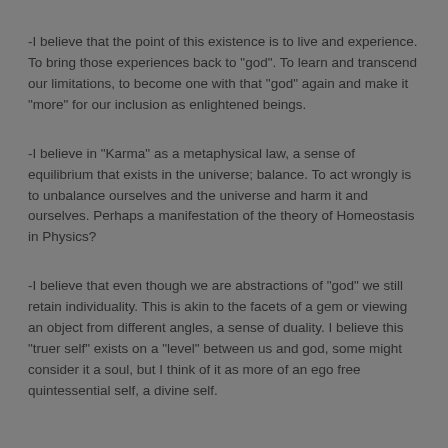-I believe that the point of this existence is to live and experience. To bring those experiences back to "god". To learn and transcend our limitations, to become one with that "god" again and make it "more" for our inclusion as enlightened beings.
-I believe in "Karma" as a metaphysical law, a sense of equilibrium that exists in the universe; balance. To act wrongly is to unbalance ourselves and the universe and harm it and ourselves. Perhaps a manifestation of the theory of Homeostasis in Physics?
-I believe that even though we are abstractions of "god" we still retain individuality. This is akin to the facets of a gem or viewing an object from different angles, a sense of duality. I believe this "truer self" exists on a "level" between us and god, some might consider it a soul, but I think of it as more of an ego free quintessential self, a divine self.